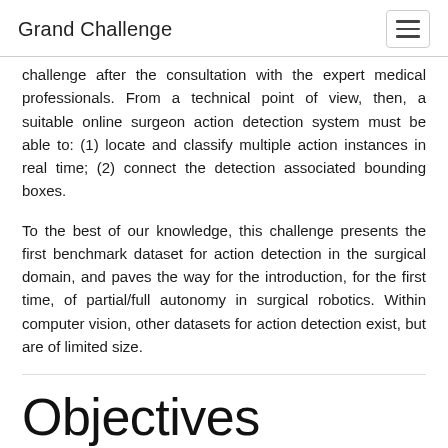Grand Challenge
challenge after the consultation with the expert medical professionals. From a technical point of view, then, a suitable online surgeon action detection system must be able to: (1) locate and classify multiple action instances in real time; (2) connect the detection associated bounding boxes.
To the best of our knowledge, this challenge presents the first benchmark dataset for action detection in the surgical domain, and paves the way for the introduction, for the first time, of partial/full autonomy in surgical robotics. Within computer vision, other datasets for action detection exist, but are of limited size.
Objectives